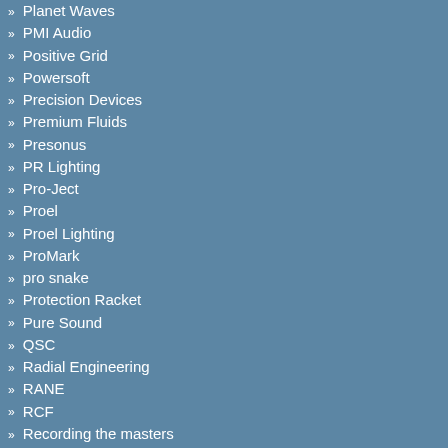Planet Waves
PMI Audio
Positive Grid
Powersoft
Precision Devices
Premium Fluids
Presonus
PR Lighting
Pro-Ject
Proel
Proel Lighting
ProMark
pro snake
Protection Racket
Pure Sound
QSC
Radial Engineering
RANE
RCF
Recording the masters
REGAL TIP
RELACART
REMO
RICO
Rigotti
Road Ready
Robe
Robert Juliat
Rock School
RODE
Roland
Roland Video
ROSCO